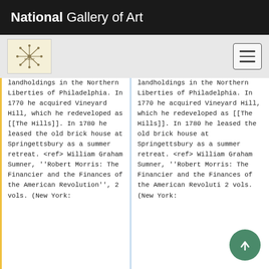National Gallery of Art
landholdings in the Northern Liberties of Philadelphia. In 1770 he acquired Vineyard Hill, which he redeveloped as [[The Hills]]. In 1780 he leased the old brick house at Springettsbury as a summer retreat. <ref> William Graham Sumner, ''Robert Morris: The Financier and the Finances of the American Revolution'', 2 vols. (New York:
landholdings in the Northern Liberties of Philadelphia. In 1770 he acquired Vineyard Hill, which he redeveloped as [[The Hills]]. In 1780 he leased the old brick house at Springettsbury as a summer retreat. <ref> William Graham Sumner, ''Robert Morris: The Financier and the Finances of the American Revolution'', 2 vols. (New York: